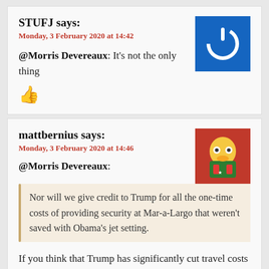STUFJ says:
Monday, 3 February 2020 at 14:42
@Morris Devereaux: It's not the only thing
[Figure (illustration): Blue square with white power button icon]
mattbernius says:
Monday, 3 February 2020 at 14:46
@Morris Devereaux:
Nor will we give credit to Trump for all the one-time costs of providing security at Mar-a-Largo that weren't saved with Obama's jet setting.
If you think that Trump has significantly cut travel costs versus Obama, then perhaps you might offer some reason why the White House is working to prevent public
[Figure (illustration): Cartoon avatar of a character with glasses and red background]